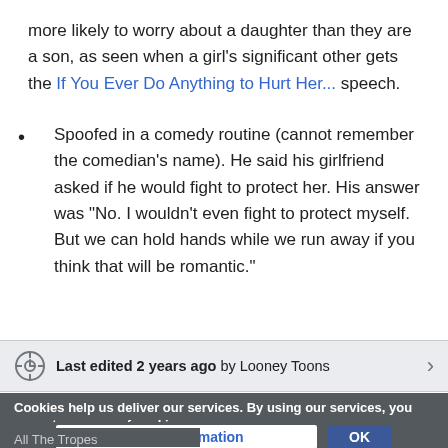more likely to worry about a daughter than they are a son, as seen when a girl's significant other gets the If You Ever Do Anything to Hurt Her... speech.
Spoofed in a comedy routine (cannot remember the comedian's name). He said his girlfriend asked if he would fight to protect her. His answer was "No. I wouldn't even fight to protect myself. But we can hold hands while we run away if you think that will be romantic."
Last edited 2 years ago by Looney Toons
Cookies help us deliver our services. By using our services, you agree to our use of cookies.
More information   OK
All The Tropes